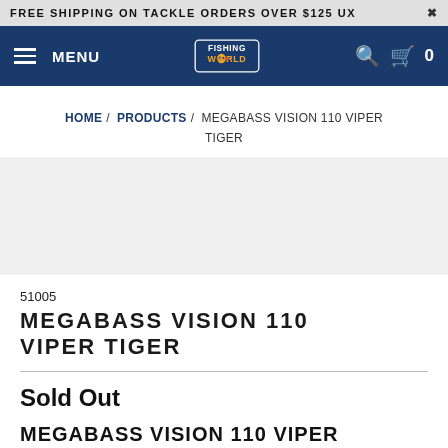FREE SHIPPING ON TACKLE ORDERS OVER $125 UXE
MENU | Fishing World | 0
HOME / PRODUCTS / MEGABASS VISION 110 VIPER TIGER
[Figure (photo): Product image area (blank/light gray, product not visible)]
51005
MEGABASS VISION 110 VIPER TIGER
Sold Out
MEGABASS VISION 110 VIPER